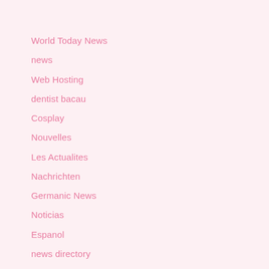World Today News
news
Web Hosting
dentist bacau
Cosplay
Nouvelles
Les Actualites
Nachrichten
Germanic News
Noticias
Espanol
news directory
Memesita
Online toys
Fresh Store Online